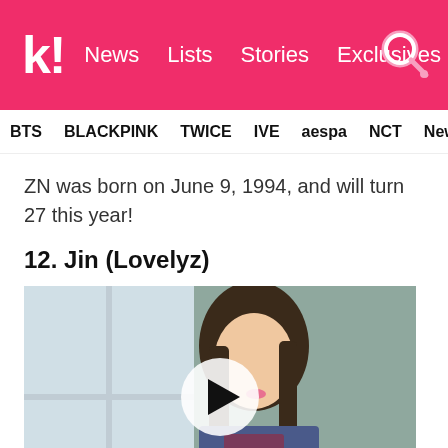k! News  Lists  Stories  Exclusives
BTS  BLACKPINK  TWICE  IVE  aespa  NCT  NewJ
ZN was born on June 9, 1994, and will turn 27 this year!
12. Jin (Lovelyz)
[Figure (photo): Photo of Jin from Lovelyz with a video play button overlay. Young woman with long brown hair, wearing a school uniform, holding a small book/item, soft background with window.]